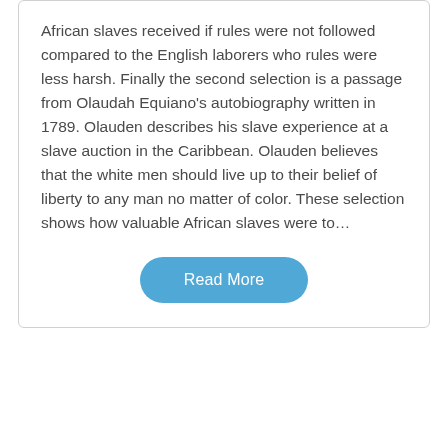African slaves received if rules were not followed compared to the English laborers who rules were less harsh. Finally the second selection is a passage from Olaudah Equiano's autobiography written in 1789. Olauden describes his slave experience at a slave auction in the Caribbean. Olauden believes that the white men should live up to their belief of liberty to any man no matter of color. These selection shows how valuable African slaves were to…
Read More